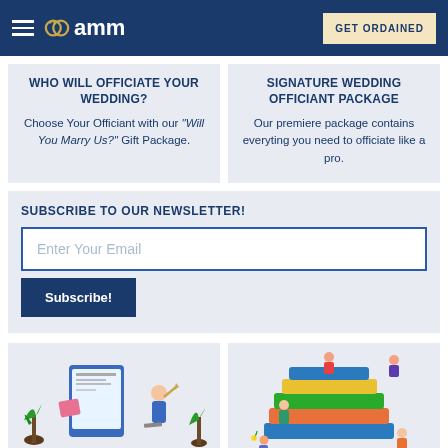AMM - Get Ordained
WHO WILL OFFICIATE YOUR WEDDING?
Choose Your Officiant with our "Will You Marry Us?" Gift Package.
SIGNATURE WEDDING OFFICIANT PACKAGE
Our premiere package contains everyting you need to officiate like a pro.
SUBSCRIBE TO OUR NEWSLETTER!
Enter Your Email
Subscribe!
[Figure (illustration): Illustration of a person with a tablet, newspaper, plants and office items]
[Figure (illustration): Illustration of people climbing and sitting on a large stack of colorful books]